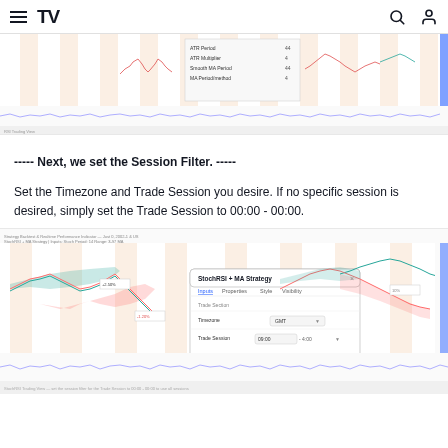TradingView
[Figure (screenshot): TradingView chart screenshot showing a trading strategy with candlestick price chart, orange/beige shaded session zones, a settings panel with ATR Period, ATR Multiplier, Smooth MA Period, and MA Period inputs, and an oscillator panel below.]
----- Next, we set the Session Filter. -----
Set the Timezone and Trade Session you desire. If no specific session is desired, simply set the Trade Session to 00:00 - 00:00.
[Figure (screenshot): TradingView chart screenshot showing a StochRSI + MA Strategy settings dialog with Inputs, Properties, Style, Visibility tabs. Timezone set to GMT, Trade Session input showing 09:00-4:00. Price chart with candlesticks, green and red shaded areas, and an oscillator panel below.]